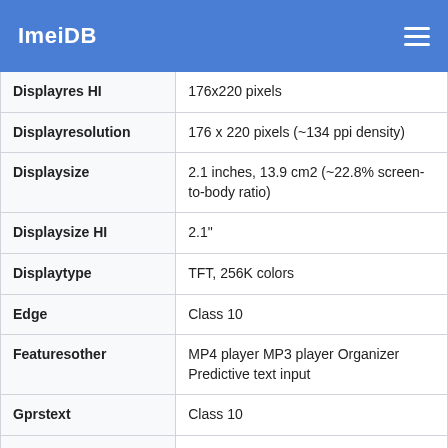ImeiDB
| Displayres HI | 176x220 pixels |
| Displayresolution | 176 x 220 pixels (~134 ppi density) |
| Displaysize | 2.1 inches, 13.9 cm2 (~22.8% screen-to-body ratio) |
| Displaysize HI | 2.1" |
| Displaytype | TFT, 256K colors |
| Edge | Class 10 |
| Featuresother | MP4 player MP3 player Organizer Predictive text input |
| Gprstext | Class 10 |
| Gps | No |